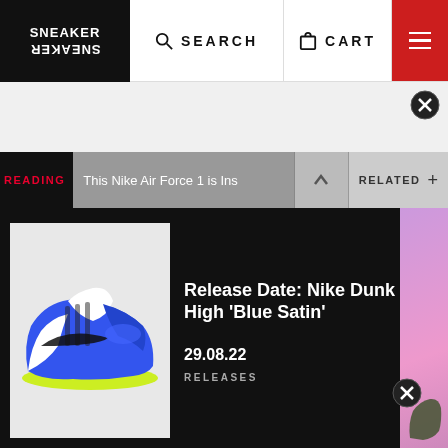[Figure (logo): Sneaker Freaker logo in white on black background]
SEARCH   CART
READING   This Nike Air Force 1 is Ins   RELATED +
[Figure (photo): Nike Dunk High Blue Satin sneaker product photo]
Release Date: Nike Dunk High ‘Blue Satin’
29.08.22
RELEASES